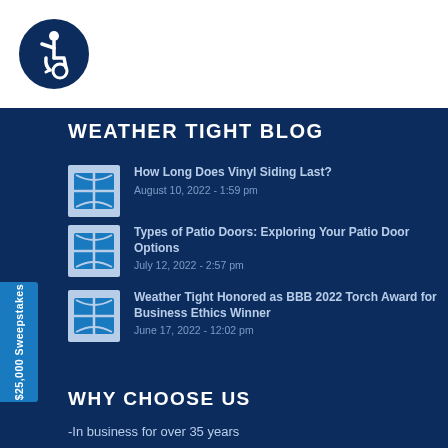[Figure (logo): Accessibility icon in a dark blue circle — wheelchair user symbol]
WEATHER TIGHT BLOG
How Long Does Vinyl Siding Last? — August 10, 2022 - 1:59 pm
Types of Patio Doors: Exploring Your Patio Door Options — July 12, 2022 - 2:57 pm
Weather Tight Honored as BBB 2022 Torch Award for Business Ethics Winner — June 17, 2022 - 12:02 pm
WHY CHOOSE US
-In business for over 35 years